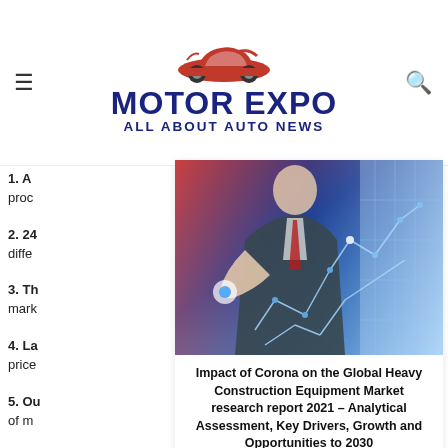Motor Expo – All About Auto News
[Figure (logo): Motor Expo logo with red car silhouette and bold blue text reading MOTOR EXPO / ALL ABOUT AUTO NEWS]
1. A... proc...
2. 24... diffe...
3. Th... mark...
4. La... price...
5. Ou... of m...
[Figure (photo): Businessman in suit touching a glowing digital chart/graph interface with network data visualization overlay]
Impact of Corona on the Global Heavy Construction Equipment Market research report 2021 – Analytical Assessment, Key Drivers, Growth and Opportunities to 2030
Marsha Cook • August 3, 2021